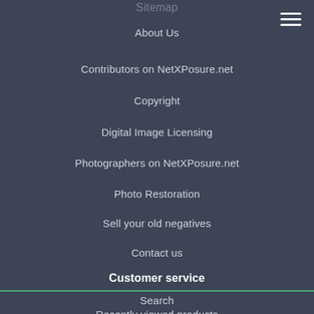Sitemap
About Us
Contributors on NetXPosure.net
Copyright
Digital Image Licensing
Photographers on NetXPosure.net
Photo Restoration
Sell your old negatives
Contact us
Customer service
Search
Recently viewed products